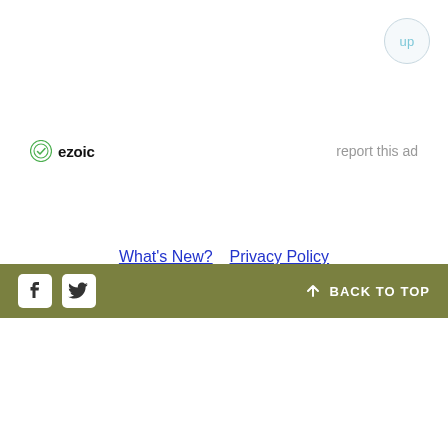[Figure (other): Up navigation button — circular button with 'up' text in light blue, bordered circle, top-right corner]
[Figure (logo): Ezoic logo with green checkmark circle icon and bold 'ezoic' text]
report this ad
What's New?  Privacy Policy
Facebook icon  Twitter icon  BACK TO TOP